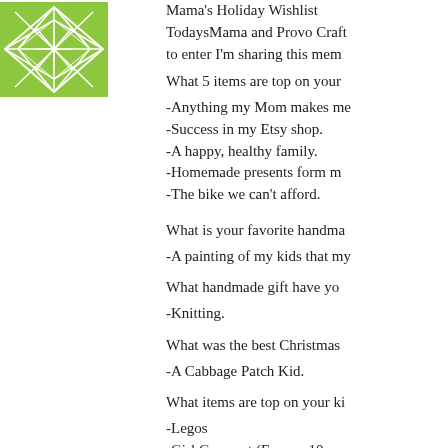[Figure (logo): Green geometric star/snowflake pattern logo for TodaysMama / Provo Craft Mama's Holiday Wishlist]
Mama's Holiday Wishlist TodaysMama and Provo Craft to enter I'm sharing this mem
What 5 items are top on your
-Anything my Mom makes me
-Success in my Etsy shop.
-A happy, healthy family.
-Homemade presents form m
-The bike we can't afford.
What is your favorite handma
-A painting of my kids that my
What handmade gift have yo
-Knitting.
What was the best Christmas
-A Cabbage Patch Kid.
What items are top on your ki
-Legos
-Girl Gourmet (For my 10 yr.
-Monster trucks
-Fishing tackle
-Craft supplies
What is your favorite holiday
-Holiday candy
What will you be hand-craftin
-Needlepunch, crochet, sewir